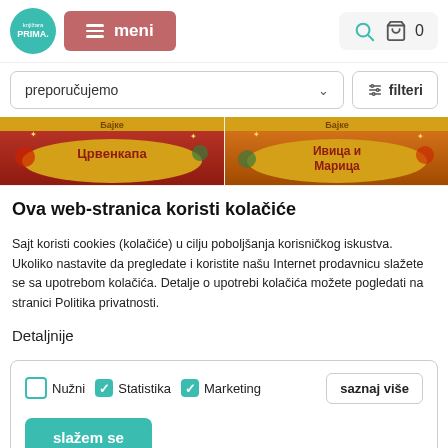knjižara PRIMA — meni — search — cart 0
preporučujemo
filteri
[Figure (screenshot): Two colorful children's fairy tale book covers side by side: left shows Crvenkapа (Red Riding Hood) in Cyrillic, right shows Ivica i Marica (Hansel and Gretel) in Cyrillic, both with 'Bajke' label at top.]
Ova web-stranica koristi kolačiće
Sajt koristi cookies (kolačiće) u cilju poboljšanja korisničkog iskustva. Ukoliko nastavite da pregledate i koristite našu Internet prodavnicu slažete se sa upotrebom kolačića. Detalje o upotrebi kolačića možete pogledati na stranici Politika privatnosti.
Detaljnije
Nužni   Statistika   Marketing   saznaj više
slažem se